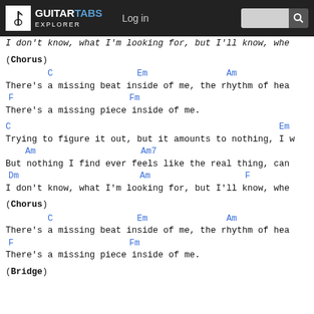GUITARTABS EXPLORER | Log in | Search
I don't know, what I'm looking for, but I'll know, whe
(Chorus)
C                Em               Am
There's a missing beat inside of me, the rhythm of hea
F                    Fm
There's a missing piece inside of me.
C                                               Em
Trying to figure it out, but it amounts to nothing, I w
Am                    Am7
But nothing I find ever feels like the real thing, can
Dm                    Am                 F
I don't know, what I'm looking for, but I'll know, whe
(Chorus)
C                Em               Am
There's a missing beat inside of me, the rhythm of hea
F                    Fm
There's a missing piece inside of me.
(Bridge)